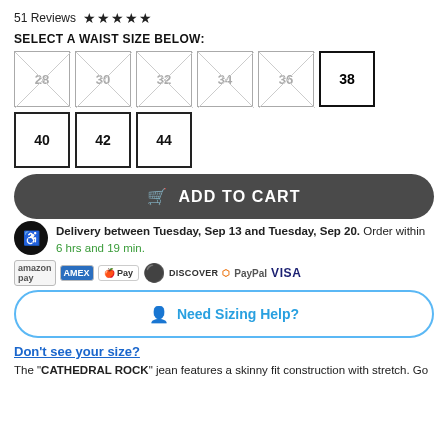51 Reviews ★★★★★
SELECT A WAIST SIZE BELOW:
Size options: 28 (unavailable), 30 (unavailable), 32 (unavailable), 34 (unavailable), 36 (unavailable), 38, 40, 42, 44
ADD TO CART
Delivery between Tuesday, Sep 13 and Tuesday, Sep 20. Order within 6 hrs and 19 min.
[Figure (infographic): Payment method icons: Amazon Pay, American Express, Apple Pay, Diners Club, Discover, MasterCard, PayPal, Visa]
Need Sizing Help?
Don't see your size?
The "CATHEDRAL ROCK" jean features a skinny fit construction with stretch. Go